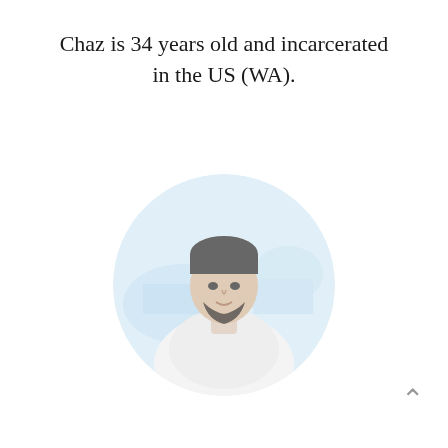Chaz is 34 years old and incarcerated in the US (WA).
[Figure (photo): Circular profile photo of a young man with a beard, wearing a white shirt, with a blue background suggestive of a stadium or outdoor venue. The image appears faded/washed out.]
[Figure (photo): Second circular profile photo of the same man, partially cropped at the bottom of the page. Same appearance — beard, white shirt, light blue background.]